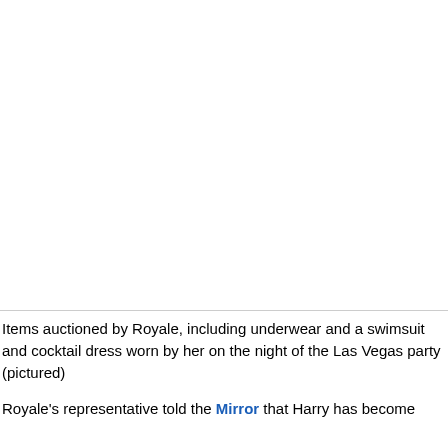[Figure (photo): Large white/blank image area occupying the upper portion of the page, representing a photo of items auctioned by Royale including underwear, swimsuit and cocktail dress worn on the night of the Las Vegas party.]
Items auctioned by Royale, including underwear and a swimsuit and cocktail dress worn by her on the night of the Las Vegas party (pictured)
Royale's representative told the Mirror that Harry has become